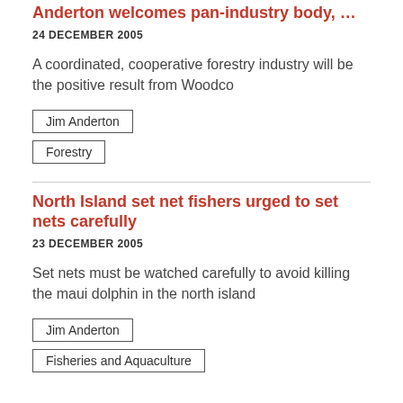Anderton welcomes pan-industry body, Woodco
24 DECEMBER 2005
A coordinated, cooperative forestry industry will be the positive result from Woodco
Jim Anderton
Forestry
North Island set net fishers urged to set nets carefully
23 DECEMBER 2005
Set nets must be watched carefully to avoid killing the maui dolphin in the north island
Jim Anderton
Fisheries and Aquaculture